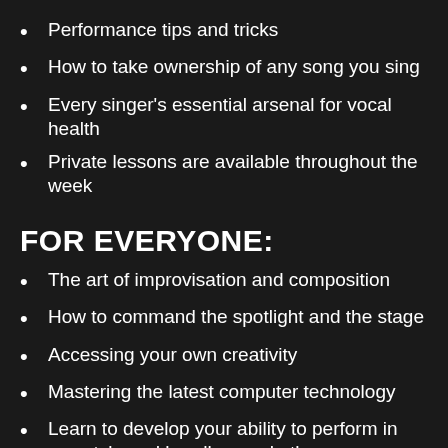Performance tips and tricks
How to take ownership of any song you sing
Every singer's essential arsenal for vocal health
Private lessons are available throughout the week
FOR EVERYONE:
The art of improvisation and composition
How to command the spotlight and the stage
Accessing your own creativity
Mastering the latest computer technology
Learn to develop your ability to perform in any style and handle any rhythm